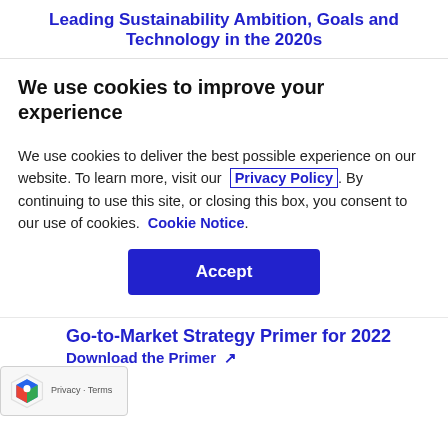Leading Sustainability Ambition, Goals and Technology in the 2020s
We use cookies to improve your experience
We use cookies to deliver the best possible experience on our website. To learn more, visit our Privacy Policy. By continuing to use this site, or closing this box, you consent to our use of cookies. Cookie Notice.
Accept
Go-to-Market Strategy Primer for 2022
Download the Primer ↗
Privacy · Terms